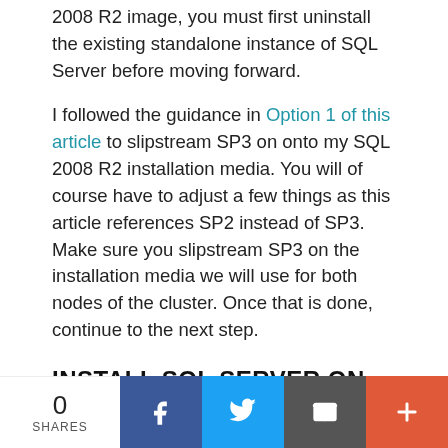2008 R2 image, you must first uninstall the existing standalone instance of SQL Server before moving forward.
I followed the guidance in Option 1 of this article to slipstream SP3 on onto my SQL 2008 R2 installation media. You will of course have to adjust a few things as this article references SP2 instead of SP3. Make sure you slipstream SP3 on the installation media we will use for both nodes of the cluster. Once that is done, continue to the next step.
INSTALL SQL SERVER ON THE FIRST NODE
Using the SQL Server 2008 R2 media with SP3 slipstreamed, go ahead and install the first node of the
0 SHARES | Facebook | Twitter | Email | More